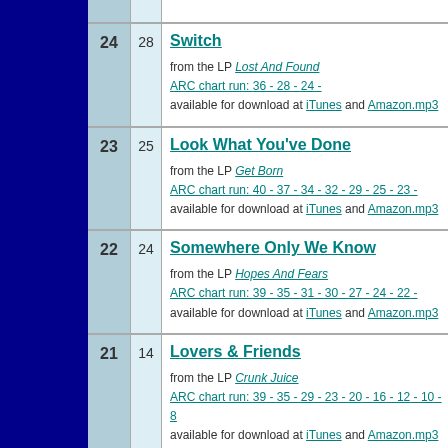| Rank | Peak | Song Info |
| --- | --- | --- |
| 24 | 28 | Switch
from the LP Lost And Found
ARC chart run: 36 - 28 - 24 -
available for download at iTunes and Amazon.mp3 |
| 23 | 25 | Look What You've Done
from the LP Get Born
ARC chart run: 40 - 37 - 34 - 32 - 29 - 25 - 23 -
available for download at iTunes and Amazon.mp3 |
| 22 | 24 | Somewhere Only We Know
from the LP Hopes And Fears
ARC chart run: 39 - 35 - 31 - 30 - 27 - 24 - 22 -
available for download at iTunes and Amazon.mp3 |
| 21 | 14 | Lovers & Friends
from the LP Crunk Juice
ARC chart run: 39 - 35 - 29 - 23 - 20 - 16 - 12 - 10 - 8...
available for download at iTunes and Amazon.mp3 |
| 20 | 26 | Candy Shop
from the LP The Massacre
ARC chart run: 39 - 35 - 31 - 26 - 20 -
available for download at iTunes and Amazon.mp3 |